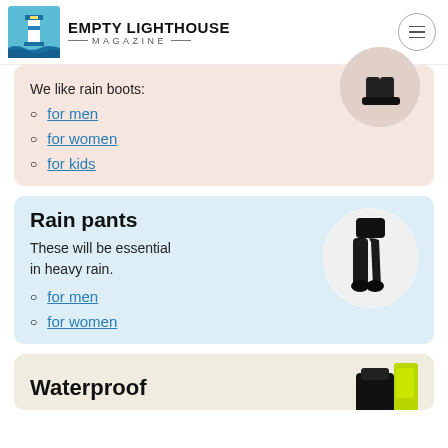EMPTY LIGHTHOUSE MAGAZINE
We like rain boots:
for men
for women
for kids
Rain pants
These will be essential in heavy rain.
for men
for women
Waterproof